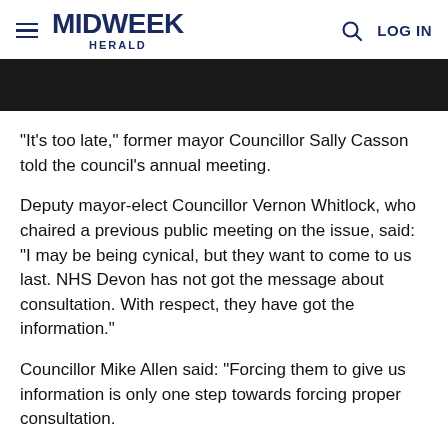MIDWEEK HERALD — LOG IN
[Figure (photo): Dark/black rectangular banner image area at top of article]
"It's too late," former mayor Councillor Sally Casson told the council's annual meeting.
Deputy mayor-elect Councillor Vernon Whitlock, who chaired a previous public meeting on the issue, said: "I may be being cynical, but they want to come to us last. NHS Devon has not got the message about consultation. With respect, they have got the information."
Councillor Mike Allen said: "Forcing them to give us information is only one step towards forcing proper consultation.